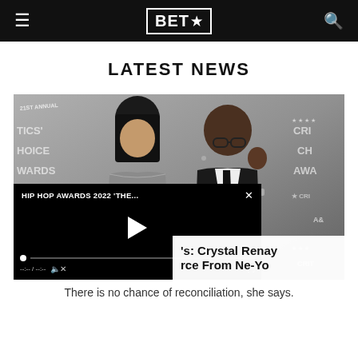BET★
LATEST NEWS
[Figure (photo): Crystal Renay and Ne-Yo posing together at the 21st Annual Critics Choice Awards red carpet. Ne-Yo is in a black suit with a black tie and glasses, making a hand gesture. A video player overlay shows 'HIP HOP AWARDS 2022 THE...' with playback controls.]
's: Crystal Renay rce From Ne-Yo
There is no chance of reconciliation, she says.